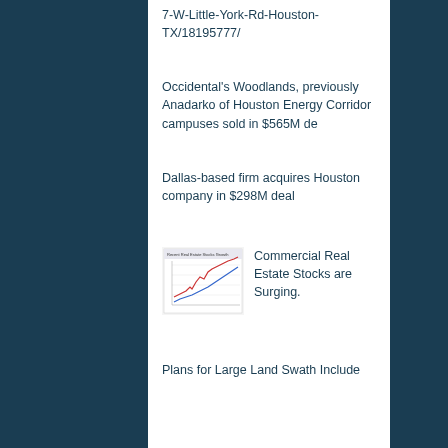7-W-Little-York-Rd-Houston-TX/18195777/
Occidental's Woodlands, previously Anadarko of Houston Energy Corridor campuses sold in $565M de
Dallas-based firm acquires Houston company in $298M deal
[Figure (line-chart): Small thumbnail chart showing Commercial Real Estate Stock trends with red and blue lines trending upward]
Commercial Real Estate Stocks are Surging.
Plans for Large Land Swath Include